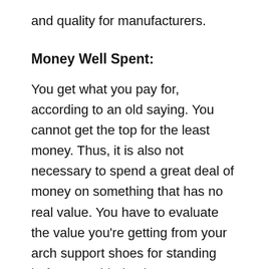and quality for manufacturers.
Money Well Spent:
You get what you pay for, according to an old saying. You cannot get the top for the least money. Thus, it is also not necessary to spend a great deal of money on something that has no real value. You have to evaluate the value you're getting from your arch support shoes for standing before considering it.
Reliability:
There is a close relationship between reliability